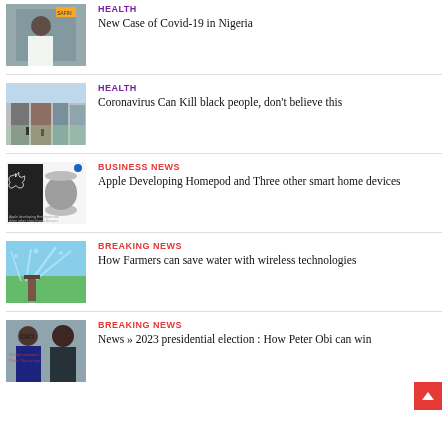[Figure (photo): Person in white coat, possibly medical worker, outdoors]
HEALTH
New Case of Covid-19 in Nigeria
[Figure (photo): Urban scene with densely packed buildings]
HEALTH
Coronavirus Can Kill black people, don't believe this
[Figure (photo): Apple HomePod and smart home devices product image]
BUSINESS NEWS
Apple Developing Homepod and Three other smart home devices
[Figure (photo): Farm irrigation sprinkler system with water spray]
BREAKING NEWS
How Farmers can save water with wireless technologies
[Figure (photo): Two men in suits, political figures]
BREAKING NEWS
News » 2023 presidential election : How Peter Obi can win